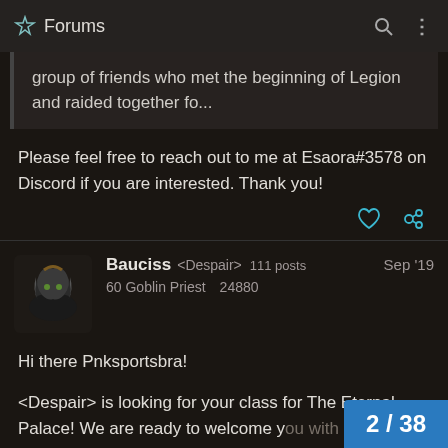Forums
group of friends who met the beginning of Legion and raided together fo...
Please feel free to reach out to me at Esaora#3578 on Discord if you are interested. Thank you!
Bauciss <Despair> 111 posts  60 Goblin Priest  24880  Sep '19
Hi there Pnksportsbra!
<Despair> is looking for your class for The Eternal Palace! We are ready to welcome you with open arms into our family.